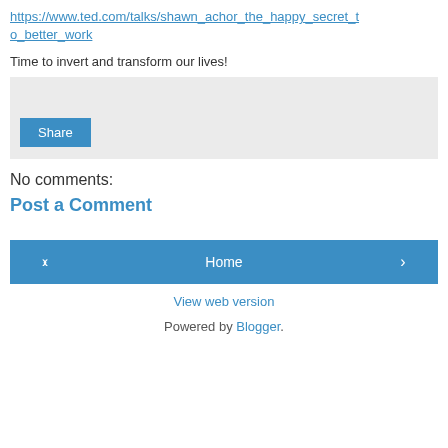https://www.ted.com/talks/shawn_achor_the_happy_secret_to_better_work
Time to invert and transform our lives!
[Figure (other): A share widget box with a Share button]
No comments:
Post a Comment
Navigation row with left arrow, Home button, and right arrow
View web version
Powered by Blogger.